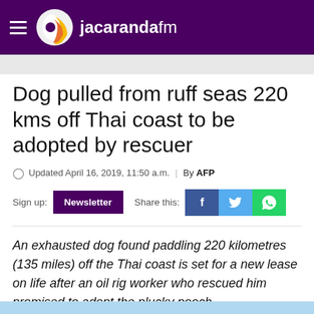jacarandafm
Dog pulled from ruff seas 220 kms off Thai coast to be adopted by rescuer
Updated April 16, 2019, 11:50 a.m. | By AFP
Sign up: Newsletter   Share this:
An exhausted dog found paddling 220 kilometres (135 miles) off the Thai coast is set for a new lease on life after an oil rig worker who rescued him promised to adopt the plucky pooch.